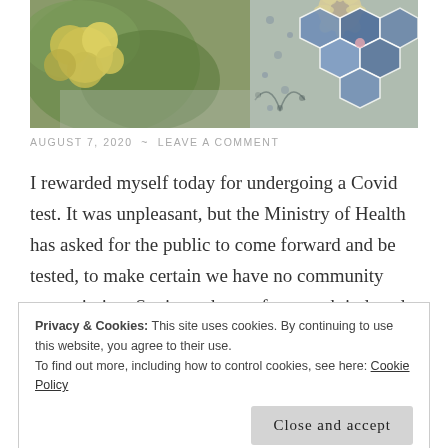[Figure (photo): A photo showing yellow and green flowers/hydrangeas on the left and a blue and white hexagon patchwork quilt piece on the right, on a grey background.]
AUGUST 7, 2020  ~  LEAVE A COMMENT
I rewarded myself today for undergoing a Covid test. It was unpleasant, but the Ministry of Health has asked for the public to come forward and be tested, to make certain we have no community transmission. So, in exchange for a swab induced
Privacy & Cookies: This site uses cookies. By continuing to use this website, you agree to their use.
To find out more, including how to control cookies, see here: Cookie Policy
Close and accept
source of much inspiration and dreams of